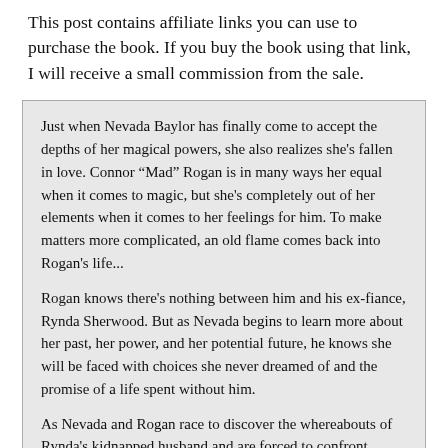This post contains affiliate links you can use to purchase the book. If you buy the book using that link, I will receive a small commission from the sale.
Just when Nevada Baylor has finally come to accept the depths of her magical powers, she also realizes she's fallen in love. Connor “Mad” Rogan is in many ways her equal when it comes to magic, but she's completely out of her elements when it comes to her feelings for him. To make matters more complicated, an old flame comes back into Rogan's life...
Rogan knows there's nothing between him and his ex-fiance, Rynda Sherwood. But as Nevada begins to learn more about her past, her power, and her potential future, he knows she will be faced with choices she never dreamed of and the promise of a life spent without him.
As Nevada and Rogan race to discover the whereabouts of Rynda's kidnapped husband and are forced to confront